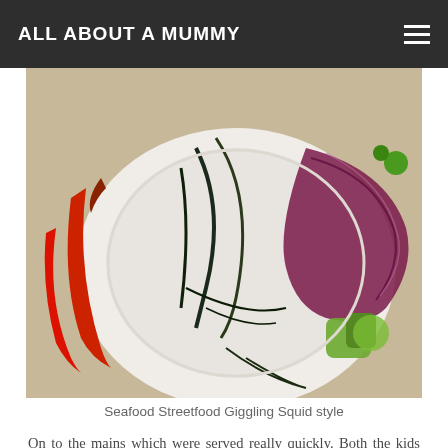ALL ABOUT A MUMMY
[Figure (photo): Close-up photo of a bowl of seafood streetfood with dried red chillies, seaweed, red onion slices, and green vegetables on white background]
Seafood Streetfood Giggling Squid style
On to the mains which were served really quickly. Both the kids went for Pad Thai noodles, Little E with juicy prawns on top and Little E opted for the chicken version.
[Figure (photo): Partial image at the bottom of the page showing a meal or person]